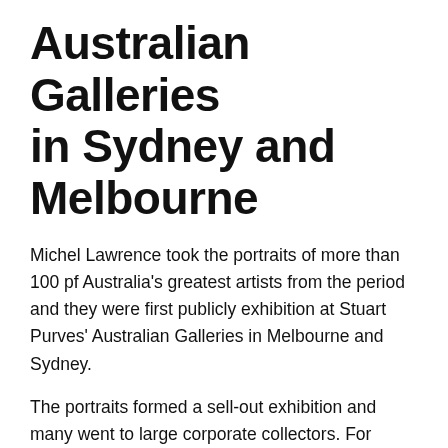Australian Galleries in Sydney and Melbourne
Michel Lawrence took the portraits of more than 100 pf Australia's greatest artists from the period and they were first publicly exhibition at Stuart Purves' Australian Galleries in Melbourne and Sydney.
The portraits formed a sell-out exhibition and many went to large corporate collectors. For instance, The Museum of Modern Art at Heide acquired more than 30 prints while the regional